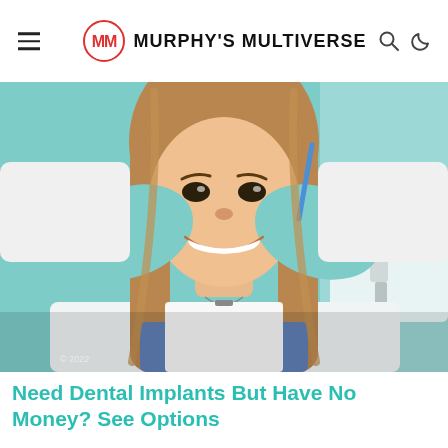Murphy's Multiverse
[Figure (photo): A smiling young woman with long brown hair sitting in a dental chair, with a dental professional in a white coat holding her face gently with teal/mint colored gloves. Dental equipment visible in background.]
Need Dental Implants But Have No Money? See Options